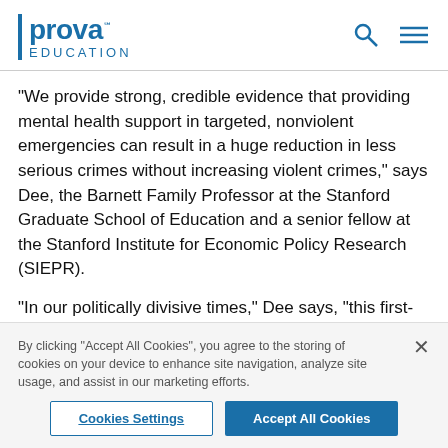Prova Education
"We provide strong, credible evidence that providing mental health support in targeted, nonviolent emergencies can result in a huge reduction in less serious crimes without increasing violent crimes," says Dee, the Barnett Family Professor at the Stanford Graduate School of Education and a senior fellow at the Stanford Institute for Economic Policy Research (SIEPR).
"In our politically divisive times," Dee says, "this first-responder innovation provides a rare opportunity for
By clicking "Accept All Cookies", you agree to the storing of cookies on your device to enhance site navigation, analyze site usage, and assist in our marketing efforts.
Cookies Settings
Accept All Cookies